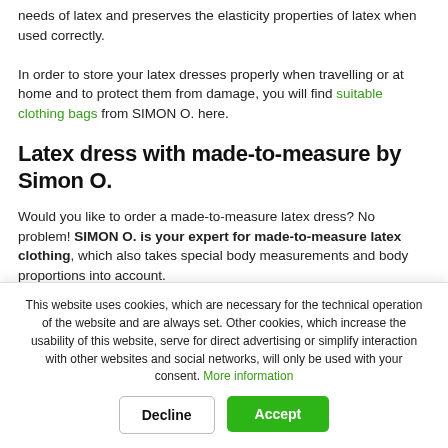needs of latex and preserves the elasticity properties of latex when used correctly.
In order to store your latex dresses properly when travelling or at home and to protect them from damage, you will find suitable clothing bags from SIMON O. here.
Latex dress with made-to-measure by Simon O.
Would you like to order a made-to-measure latex dress? No problem! SIMON O. is your expert for made-to-measure latex clothing, which also takes special body measurements and body proportions into account.
This website uses cookies, which are necessary for the technical operation of the website and are always set. Other cookies, which increase the usability of this website, serve for direct advertising or simplify interaction with other websites and social networks, will only be used with your consent. More information
Decline | Accept